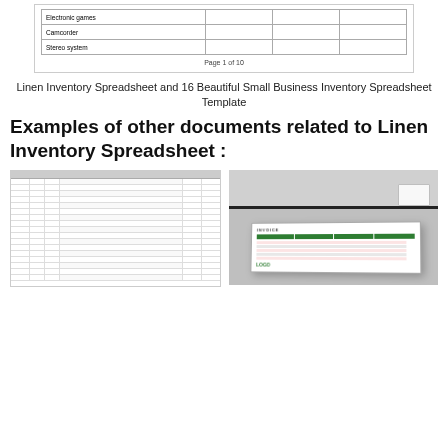[Figure (table-as-image): Partial view of a home inventory spreadsheet showing rows for Electronic games, Camcorder, and Stereo system, with a page number 'Page 1 of 10' below]
Linen Inventory Spreadsheet and 16 Beautiful Small Business Inventory Spreadsheet Template
Examples of other documents related to Linen Inventory Spreadsheet :
[Figure (screenshot): Thumbnail of a detailed spreadsheet/inventory list with many rows and columns]
[Figure (photo): Photo of a printed invoice or spreadsheet document with green header bar, green table cells, and a logo, shown at an angle on a gray background]